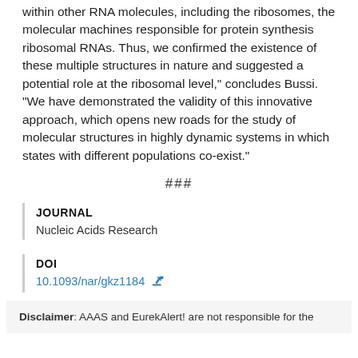within other RNA molecules, including the ribosomes, the molecular machines responsible for protein synthesis ribosomal RNAs. Thus, we confirmed the existence of these multiple structures in nature and suggested a potential role at the ribosomal level," concludes Bussi. "We have demonstrated the validity of this innovative approach, which opens new roads for the study of molecular structures in highly dynamic systems in which states with different populations co-exist."
###
JOURNAL
Nucleic Acids Research
DOI
10.1093/nar/gkz1184
Disclaimer: AAAS and EurekAlert! are not responsible for the